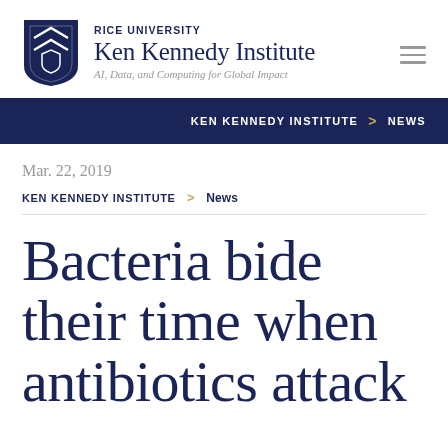RICE UNIVERSITY Ken Kennedy Institute — AI, Data, and Computing for Global Impact
KEN KENNEDY INSTITUTE > NEWS
Mar. 22, 2019
KEN KENNEDY INSTITUTE > News
Bacteria bide their time when antibiotics attack